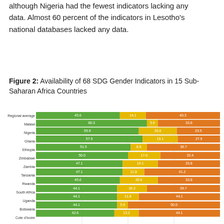although Nigeria had the fewest indicators lacking any data. Almost 60 percent of the indicators in Lesotho's national databases lacked any data.
Figure 2: Availability of 68 SDG Gender Indicators in 15 Sub-Saharan Africa Countries
[Figure (stacked-bar-chart): Availability of 68 SDG Gender Indicators in 15 Sub-Saharan Africa Countries]